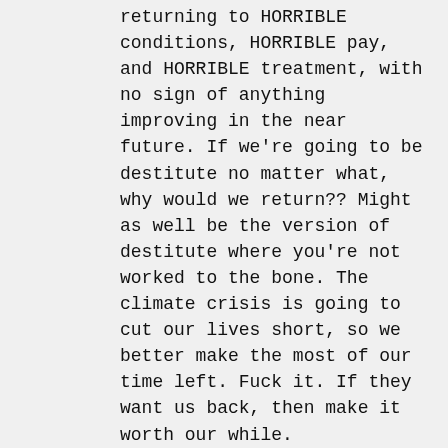returning to HORRIBLE conditions, HORRIBLE pay, and HORRIBLE treatment, with no sign of anything improving in the near future. If we're going to be destitute no matter what, why would we return?? Might as well be the version of destitute where you're not worked to the bone. The climate crisis is going to cut our lives short, so we better make the most of our time left. Fuck it. If they want us back, then make it worth our while.

Attributing SLS to Trump voters is insane when 60% of the two generations most affected by said Shit Lives are anti-capitalist LEFTISTS. And the leftists are misled, and f...